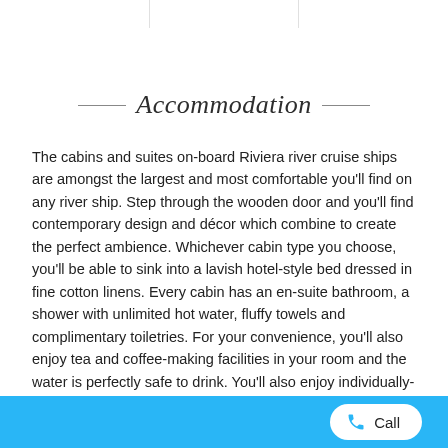Accommodation
The cabins and suites on-board Riviera river cruise ships are amongst the largest and most comfortable you'll find on any river ship. Step through the wooden door and you'll find contemporary design and décor which combine to create the perfect ambience. Whichever cabin type you choose, you'll be able to sink into a lavish hotel-style bed dressed in fine cotton linens. Every cabin has an en-suite bathroom, a shower with unlimited hot water, fluffy towels and complimentary toiletries. For your convenience, you'll also enjoy tea and coffee-making facilities in your room and the water is perfectly safe to drink. You'll also enjoy individually-controlled air conditioning or heating, a flat-screen TV, hairdryer, safe and telephone.
Call